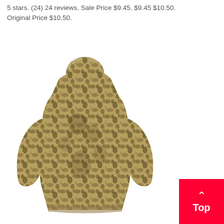5 stars. (24) 24 reviews. Sale Price $9.45. $9.45 $10.50. Original Price $10.50.
[Figure (photo): Back view of a person wearing a camouflage hoodie with a snake/reptile pattern in brown and green tones, shown from approximately waist up against a white background.]